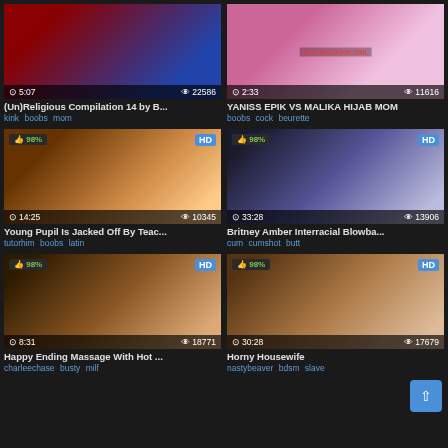[Figure (screenshot): Video thumbnail for (Un)Religious Compilation 14 by B..., duration 5:07, views 22586]
(Un)Religious Compilation 14 by B...
kink boobs mom
[Figure (screenshot): Video thumbnail for YANISS EPIK VS MALIKA HIJAB MOM, duration 2:33, views 11616, watermark W.YANISSEPIK.ONL]
YANISS EPIK VS MALIKA HIJAB MOM
boobs cock beurette
[Figure (screenshot): Video thumbnail HD 98% for Young Pupil Is Jacked Off By Teac..., duration 14:25, views 10345]
Young Pupil Is Jacked Off By Teac...
tutorhim boobs latin
[Figure (screenshot): Video thumbnail HD 98% for Britney Amber Interracial Blowba..., duration 33:28, views 13906]
Britney Amber Interracial Blowba...
cum cumshot butt
[Figure (screenshot): Video thumbnail HD 98% for Happy Ending Massage With Hot ..., duration 8:31, views 18771]
Happy Ending Massage With Hot ...
charleechase busty milf
[Figure (screenshot): Video thumbnail HD 98% for Horny Housewife, duration 30:28, views 17679]
Horny Housewife
nastybeaver bdsm slave